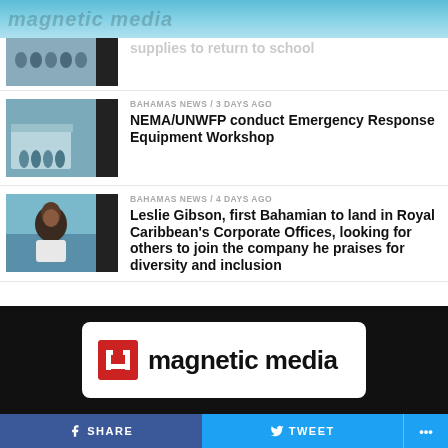magnetic media
[Figure (photo): Partial thumbnail of group photo, top cropped]
supplies to return to school
[Figure (photo): Group of people in uniform outside building]
BAHAMAS NEWS / 3 days ago
NEMA/UNWFP conduct Emergency Response Equipment Workshop
[Figure (photo): Portrait of Leslie Gibson, smiling man in white shirt]
BAHAMAS NEWS / 4 days ago
Leslie Gibson, first Bahamian to land in Royal Caribbean’s Corporate Offices, looking for others to join the company he praises for diversity and inclusion
[Figure (logo): Magnetic Media logo with red square icon and black text on white card background on dark panel]
SHARE   TWEET   ...